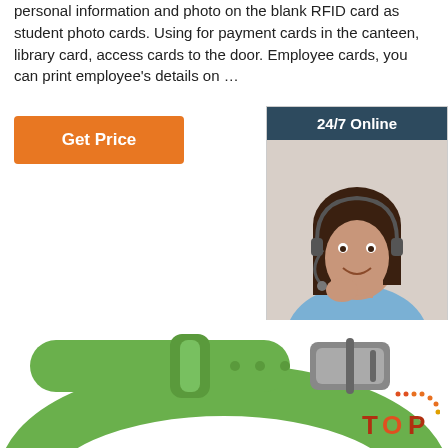personal information and photo on the blank RFID card as student photo cards. Using for payment cards in the canteen, library card, access cards to the door. Employee cards, you can print employee's details on …
[Figure (other): Orange 'Get Price' button]
[Figure (other): 24/7 Online chat widget with photo of woman wearing headset, 'Click here for free chat!' text and orange QUOTATION button]
[Figure (photo): Green silicone RFID wristband with metal buckle clasp, photographed from above on white background]
[Figure (logo): TOP logo with decorative dots in orange/red]